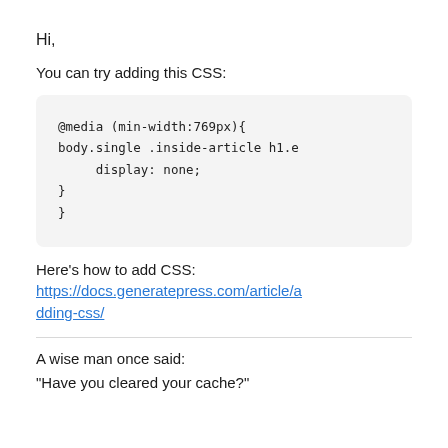Hi,
You can try adding this CSS:
@media (min-width:769px){
body.single .inside-article h1.e
     display: none;
}
}
Here's how to add CSS:
https://docs.generatepress.com/article/adding-css/
A wise man once said:
“Have you cleared your cache?”